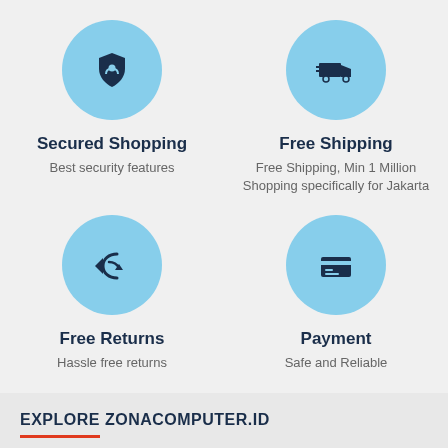[Figure (infographic): Light blue circle with a shield/badge icon representing Secured Shopping]
Secured Shopping
Best security features
[Figure (infographic): Light blue circle with a delivery truck icon representing Free Shipping]
Free Shipping
Free Shipping, Min 1 Million Shopping specifically for Jakarta
[Figure (infographic): Light blue circle with a return/reply arrow icon representing Free Returns]
Free Returns
Hassle free returns
[Figure (infographic): Light blue circle with a credit card icon representing Payment]
Payment
Safe and Reliable
EXPLORE ZONACOMPUTER.ID
About Us
Career